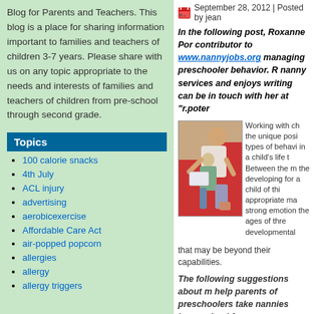Blog for Parents and Teachers. This blog is a place for sharing information important to families and teachers of children 3-7 years. Please share with us on any topic appropriate to the needs and interests of families and teachers of children from pre-school through second grade.
Topics
100 calorie snacks
4th July
ACL injury
advertising
aerobicexercise
Affordable Care Act
air-popped popcorn
allergies
allergy
allergy triggers
September 28, 2012 | Posted by jean
In the following post, Roxanne Por contributor to www.nannyjobs.org managing preschooler behavior. R nanny services and enjoys writing can be in touch with her at "r.poter
[Figure (photo): Adult man sitting with a young child, looking at something together, possibly a tablet or book]
Working with ch the unique posi types of behavi in a child's life t Between the m the developing for a child of thi appropriate ma strong emotion the ages of thre developmental that may be beyond their capabilities.
The following suggestions about m help parents of preschoolers take nannies have gained from years o children.